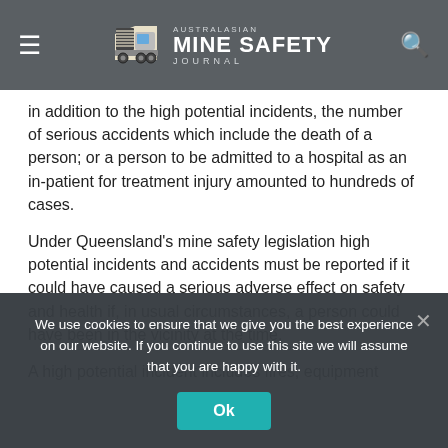Australasian Mine Safety Journal
in addition to the high potential incidents, the number of serious accidents which include the death of a person; or a person to be admitted to a hospital as an in-patient for treatment injury amounted to hundreds of cases.
Under Queensland's mine safety legislation high potential incidents and accidents must be reported if it could have caused a serious adverse effect on safety and health if, in usual circumstances, a person could have been in the vicinity at the time.
A high potential incident includes fires, equipment
We use cookies to ensure that we give you the best experience on our website. If you continue to use this site we will assume that you are happy with it.